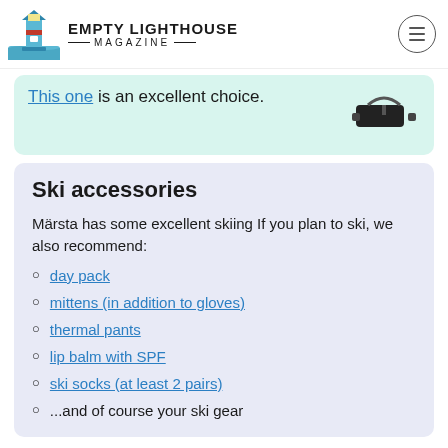EMPTY LIGHTHOUSE MAGAZINE
This one is an excellent choice.
Ski accessories
Märsta has some excellent skiing If you plan to ski, we also recommend:
day pack
mittens (in addition to gloves)
thermal pants
lip balm with SPF
ski socks (at least 2 pairs)
...and of course your ski gear